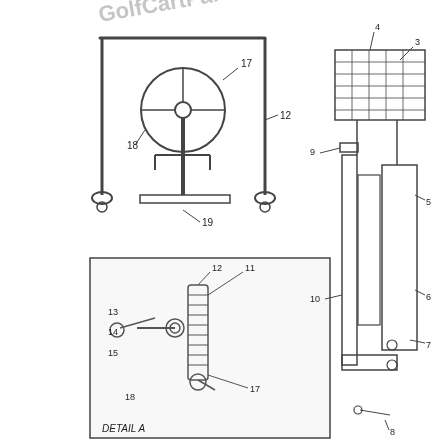[Figure (engineering-diagram): Two exploded-view engineering diagrams of golf cart parts. Left diagram shows a detailed assembly with numbered parts 12-19 and a 'DETAIL A' inset box showing parts 11-18. Right diagram shows a bracket/frame assembly with numbered parts 3-10. Watermark text 'GolfCartParts' visible in upper area.]
Copyright © Mid-America Powered Vehicles Corp  All Rights Reserved
2008 CLUB CAR Carryall 2 Utility/Golf Cart GAS POWERED. 2008 CLUB CAR Carryall 2 Utility/Golf Cart GAS POWERED - $2,500.00. 2008 Club Car Carryall 2 GAS POWERED MANUAL DUMP BEDGAS POWEREDRUNS AND DRIVES GOODNO ISSUES 909 347 9960Please